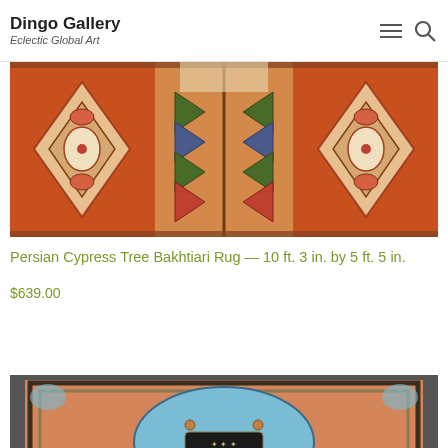Dingo Gallery — Eclectic Global Art
[Figure (photo): Close-up photo of a Persian Cypress Tree Bakhtiari rug showing geometric and floral patterns in orange, red, blue, and cream colors]
Persian Cypress Tree Bakhtiari Rug — 10 ft. 3 in. by 5 ft. 5 in.
$639.00
Add to cart
[Figure (photo): Photo of a second Persian rug with salmon/peach background, teal/blue center medallion, dark border with intricate patterns]